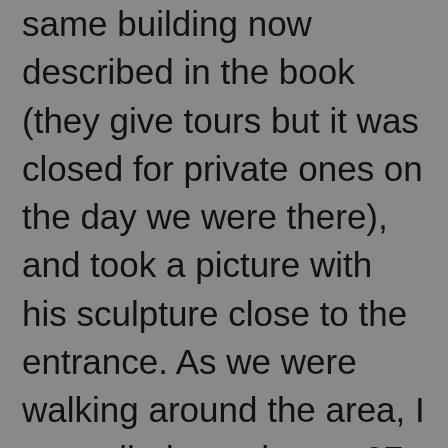same building now described in the book (they give tours but it was closed for private ones on the day we were there), and took a picture with his sculpture close to the entrance. As we were walking around the area, I marvelled at at how a 27-year-old kid (his age when Sun was published) could have had so much of an impact on one town. Obviously Pamplona was important and important to him for